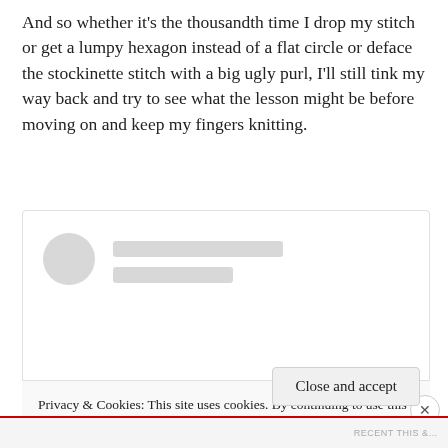And so whether it’s the thousandth time I drop my stitch or get a lumpy hexagon instead of a flat circle or deface the stockinette stitch with a big ugly purl, I’ll still tink my way back and try to see what the lesson might be before moving on and keep my fingers knitting.
[Figure (other): A loading skeleton/placeholder card with a circular avatar placeholder and two rectangular content placeholder lines]
Privacy & Cookies: This site uses cookies. By continuing to use this website, you agree to their use.
To find out more, including how to control cookies, see here: Cookie Policy
Close and accept